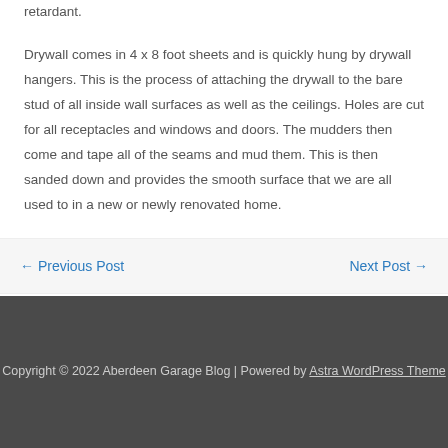retardant.
Drywall comes in 4 x 8 foot sheets and is quickly hung by drywall hangers. This is the process of attaching the drywall to the bare stud of all inside wall surfaces as well as the ceilings. Holes are cut for all receptacles and windows and doors. The mudders then come and tape all of the seams and mud them. This is then sanded down and provides the smooth surface that we are all used to in a new or newly renovated home.
← Previous Post
Next Post →
Copyright © 2022 Aberdeen Garage Blog | Powered by Astra WordPress Theme